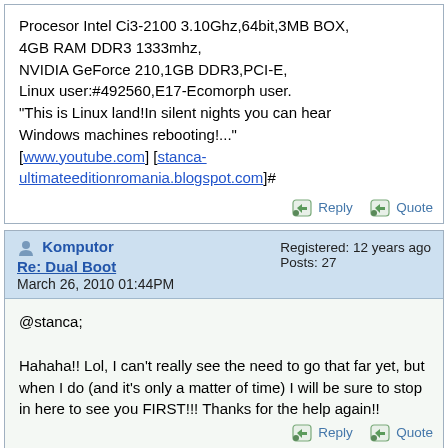Procesor Intel Ci3-2100 3.10Ghz,64bit,3MB BOX, 4GB RAM DDR3 1333mhz, NVIDIA GeForce 210,1GB DDR3,PCI-E, Linux user:#492560,E17-Ecomorph user. "This is Linux land!In silent nights you can hear Windows machines rebooting!..." [www.youtube.com] [stanca-ultimateeditionromania.blogspot.com]#
Kombutor
Re: Dual Boot
March 26, 2010 01:44PM
Registered: 12 years ago
Posts: 27
@stanca;

Hahaha!! Lol, I can't really see the need to go that far yet, but when I do (and it's only a matter of time) I will be sure to stop in here to see you FIRST!!! Thanks for the help again!!